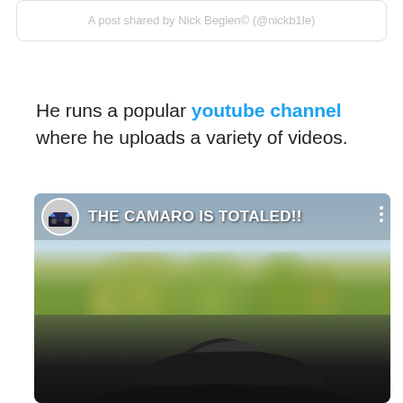A post shared by Nick Begien© (@nickb1le)
He runs a popular youtube channel where he uploads a variety of videos.
[Figure (screenshot): YouTube video thumbnail showing a damaged black Camaro car with trees and sky in the background. Video title overlay reads 'THE CAMARO IS TOTALED!!' with a YouTube channel avatar on the left and a three-dot menu on the right.]